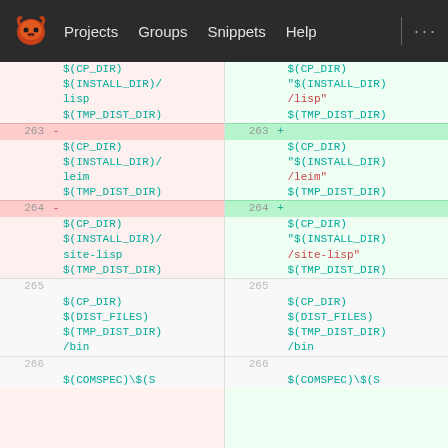[Figure (screenshot): GitLab web interface showing a code diff view. Top nav bar with logo, Projects, Groups, Snippets, Help links. Below is a split diff showing line numbers 263-266 with removed lines (pink background, minus markers) on the left and added lines (green background, plus markers) on the right. Code uses Courier monospace font in teal and red colors.]